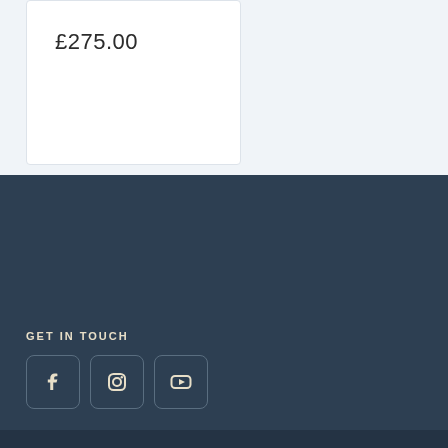£275.00
GET IN TOUCH
[Figure (illustration): Social media icon buttons: Facebook, Instagram, YouTube]